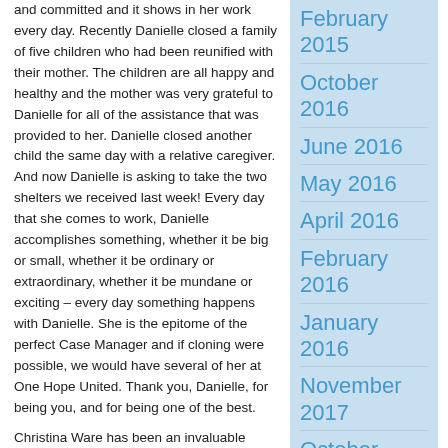and committed and it shows in her work every day. Recently Danielle closed a family of five children who had been reunified with their mother. The children are all happy and healthy and the mother was very grateful to Danielle for all of the assistance that was provided to her. Danielle closed another child the same day with a relative caregiver. And now Danielle is asking to take the two shelters we received last week! Every day that she comes to work, Danielle accomplishes something, whether it be big or small, whether it be ordinary or extraordinary, whether it be mundane or exciting – every day something happens with Danielle. She is the epitome of the perfect Case Manager and if cloning were possible, we would have several of her at One Hope United. Thank you, Danielle, for being you, and for being one of the best.
Christina Ware has been an invaluable asset to CHS for the past three years. She started her
February 2015
October 2016
June 2016
May 2016
April 2016
February 2016
January 2016
November 2017
October